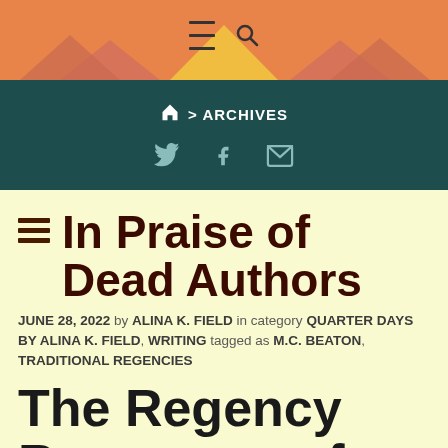[Figure (screenshot): Website header with orange background, hamburger menu icon and search icon, geometric hexagon pattern in orange and yellow tones]
🏠 > ARCHIVES
[Figure (infographic): Social media icons: Twitter bird, Facebook f, and envelope/email icon on dark teal background]
In Praise of Dead Authors
JUNE 28, 2022 by ALINA K. FIELD in category QUARTER DAYS BY ALINA K. FIELD, WRITING tagged as M.C. BEATON, TRADITIONAL REGENCIES
The Regency Romances of M.C.